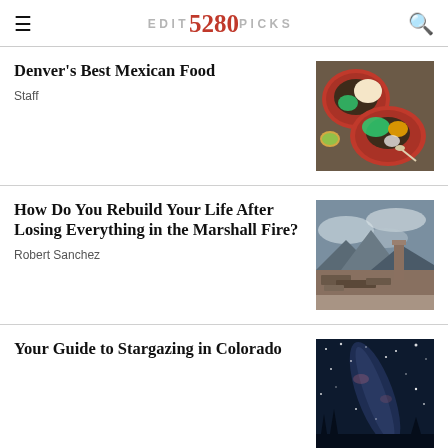EDITOR'S 5280 PICKS
Denver's Best Mexican Food
Staff
[Figure (photo): Overhead shot of Mexican food on red plates including tacos, rice, beans, guacamole, and tortillas]
How Do You Rebuild Your Life After Losing Everything in the Marshall Fire?
Robert Sanchez
[Figure (photo): Photo of Marshall Fire destruction — rubble and debris with a lone chimney standing, mountains and cloudy sky in background]
Your Guide to Stargazing in Colorado
[Figure (photo): Night sky photo showing the Milky Way and stars over Colorado]